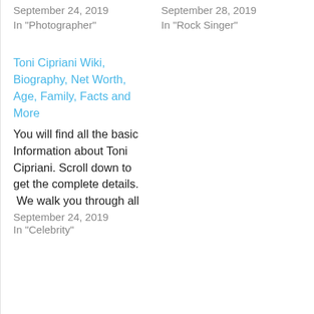September 24, 2019
In "Photographer"
September 28, 2019
In "Rock Singer"
Toni Cipriani Wiki, Biography, Net Worth, Age, Family, Facts and More
You will find all the basic Information about Toni Cipriani. Scroll down to get the complete details.  We walk you through all
September 24, 2019
In "Celebrity"